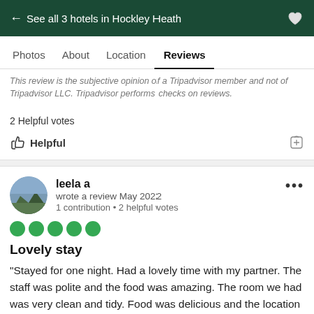← See all 3 hotels in Hockley Heath
Photos   About   Location   Reviews
This review is the subjective opinion of a Tripadvisor member and not of Tripadvisor LLC. Tripadvisor performs checks on reviews.
2 Helpful votes
Helpful
leela a
wrote a review May 2022
1 contribution • 2 helpful votes
Lovely stay
"Stayed for one night. Had a lovely time with my partner. The staff was polite and the food was amazing. The room we had was very clean and tidy. Food was delicious and the location was too. Can't wait to stay